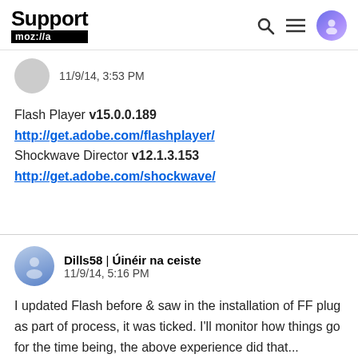Support moz://a
11/9/14, 3:53 PM
Flash Player v15.0.0.189
http://get.adobe.com/flashplayer/
Shockwave Director v12.1.3.153
http://get.adobe.com/shockwave/
Dills58 | Úinéir na ceiste
11/9/14, 5:16 PM
I updated Flash before & saw in the installation of FF plug as part of process, it was ticked. I'll monitor how things go for the time being, the above experience did that...